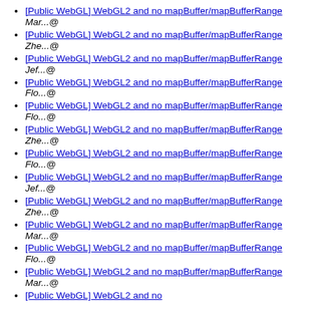[Public WebGL] WebGL2 and no mapBuffer/mapBufferRange  Mar...@
[Public WebGL] WebGL2 and no mapBuffer/mapBufferRange  Zhe...@
[Public WebGL] WebGL2 and no mapBuffer/mapBufferRange  Jef...@
[Public WebGL] WebGL2 and no mapBuffer/mapBufferRange  Flo...@
[Public WebGL] WebGL2 and no mapBuffer/mapBufferRange  Flo...@
[Public WebGL] WebGL2 and no mapBuffer/mapBufferRange  Zhe...@
[Public WebGL] WebGL2 and no mapBuffer/mapBufferRange  Flo...@
[Public WebGL] WebGL2 and no mapBuffer/mapBufferRange  Jef...@
[Public WebGL] WebGL2 and no mapBuffer/mapBufferRange  Zhe...@
[Public WebGL] WebGL2 and no mapBuffer/mapBufferRange  Mar...@
[Public WebGL] WebGL2 and no mapBuffer/mapBufferRange  Flo...@
[Public WebGL] WebGL2 and no mapBuffer/mapBufferRange  Mar...@
[Public WebGL] WebGL2 and no mapBuffer/mapBufferRange